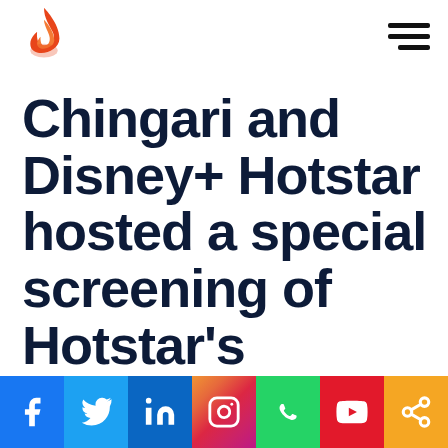[Chingari logo] [Hamburger menu]
Chingari and Disney+ Hotstar hosted a special screening of Hotstar’s Specials’
[Figure (infographic): Social media share bar with icons: Facebook, Twitter, LinkedIn, Instagram, WhatsApp, YouTube, Share]